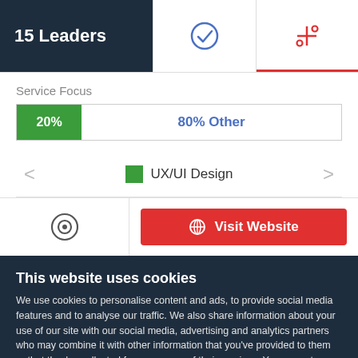15 Leaders
[Figure (other): Checkmark circle icon tab]
[Figure (other): Adjust/filter icon tab (active, red underline)]
Service Focus
[Figure (bar-chart): Service Focus]
UX/UI Design
[Figure (other): Contact/Clutch icon]
Visit Website
This website uses cookies
We use cookies to personalise content and ads, to provide social media features and to analyse our traffic. We also share information about your use of our site with our social media, advertising and analytics partners who may combine it with other information that you've provided to them or that they've collected from your use of their services. You agree to our cookies if you continue to use our website.
Close
Show details